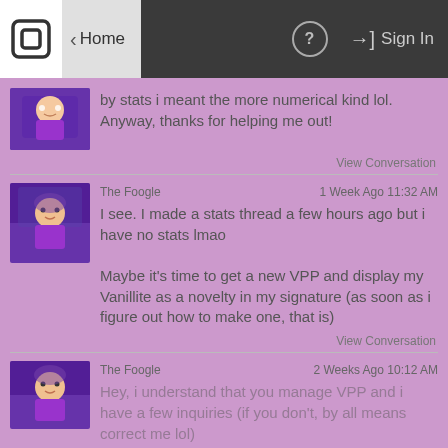[Figure (screenshot): Mobile app navigation bar with logo, Home button, help icon, and Sign In button]
by stats i meant the more numerical kind lol. Anyway, thanks for helping me out!
View Conversation
The Foogle    1 Week Ago 11:32 AM
I see. I made a stats thread a few hours ago but i have no stats lmao

Maybe it's time to get a new VPP and display my Vanillite as a novelty in my signature (as soon as i figure out how to make one, that is)
View Conversation
The Foogle    2 Weeks Ago 10:12 AM
Hey, i understand that you manage VPP and i have a few inquiries (if you don't, by all means correct me lol)